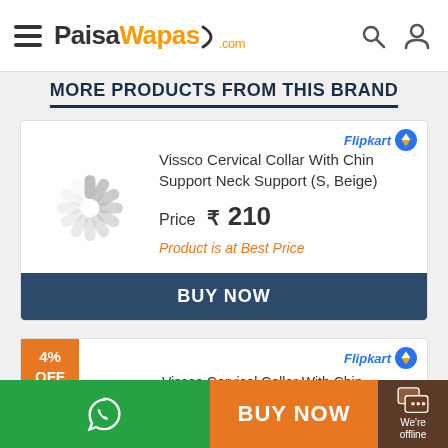PaisaWapas.com
MORE PRODUCTS FROM THIS BRAND
[Figure (screenshot): Product card for Vissco Cervical Collar With Chin Support Neck Support (S, Beige) with loading spinner image, Flipkart badge, price ₹210, and BUY NOW button]
Vissco Cervical Collar With Chin Support Neck Support (S, Beige)
Price ₹ 210
Product is at Best Price
[Figure (screenshot): Second product card for Vissco Cervical Collar With Chin with 4% OFF badge and Flipkart logo]
4% OFF
Vissco Cervical Collar With Chin
BUY NOW | We're offline